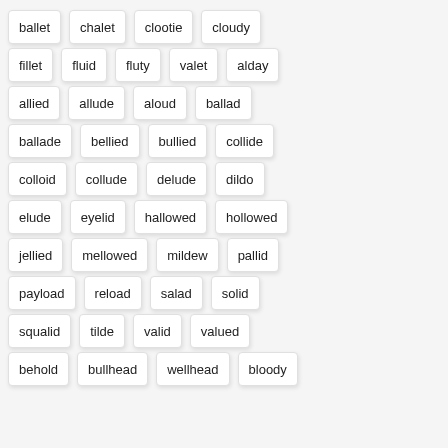ballet
chalet
clootie
cloudy
fillet
fluid
fluty
valet
alday
allied
allude
aloud
ballad
ballade
bellied
bullied
collide
colloid
collude
delude
dildo
elude
eyelid
hallowed
hollowed
jellied
mellowed
mildew
pallid
payload
reload
salad
solid
squalid
tilde
valid
valued
behold
bullhead
wellhead
bloody